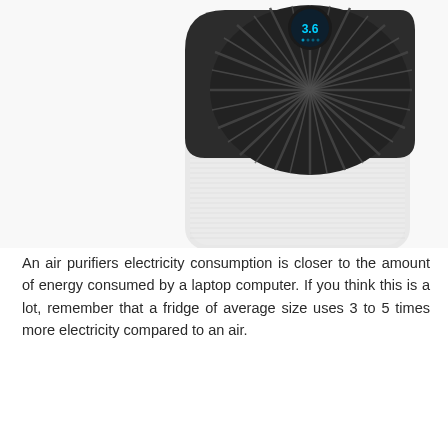[Figure (photo): Top-down angled view of a white air purifier with a dark circular fan grille on top showing radiating slats, a round digital display showing '3.6', and a textured white body/filter casing below.]
An air purifiers electricity consumption is closer to the amount of energy consumed by a laptop computer. If you think this is a lot, remember that a fridge of average size uses 3 to 5 times more electricity compared to an air.